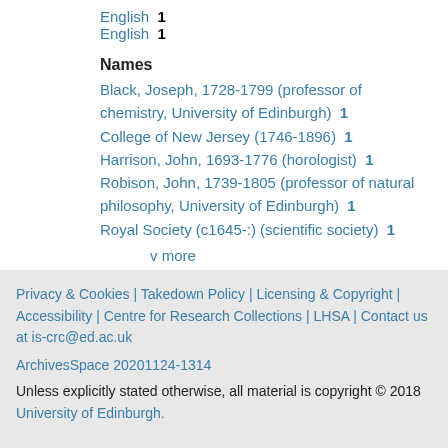English  1
English  1
Names
Black, Joseph, 1728-1799 (professor of chemistry, University of Edinburgh)  1
College of New Jersey (1746-1896)  1
Harrison, John, 1693-1776 (horologist)  1
Robison, John, 1739-1805 (professor of natural philosophy, University of Edinburgh)  1
Royal Society (c1645-:) (scientific society)  1
v more
Privacy & Cookies | Takedown Policy | Licensing & Copyright | Accessibility | Centre for Research Collections | LHSA | Contact us at is-crc@ed.ac.uk

ArchivesSpace 20201124-1314

Unless explicitly stated otherwise, all material is copyright © 2018 University of Edinburgh.